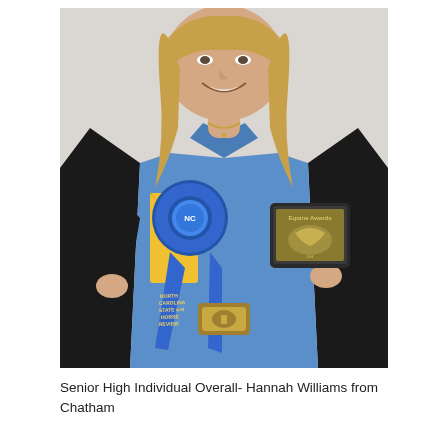[Figure (photo): A smiling young woman with long blonde hair wearing a black blazer over a blue button-up shirt. She is holding a large blue 4-H ribbon/rosette and a yellow envelope in one hand, and a dark award plaque box in the other hand. She has a decorative belt buckle visible at her waist. The background is a white/light gray wall.]
Senior High Individual Overall- Hannah Williams from Chatham